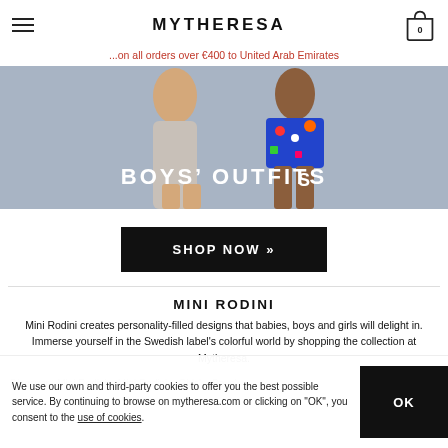MYTHERESA
...on all orders over €400 to United Arab Emirates
[Figure (photo): Hero image showing boys in colorful outfits with text BOYS' OUTFITS overlaid]
SHOP NOW »
MINI RODINI
Mini Rodini creates personality-filled designs that babies, boys and girls will delight in. Immerse yourself in the Swedish label's colorful world by shopping the collection at Mytheresa.
Discover  Mini Rodini  Mini Rodini  Girls'  Boys'
We use our own and third-party cookies to offer you the best possible service. By continuing to browse on mytheresa.com or clicking on "OK", you consent to the use of cookies.